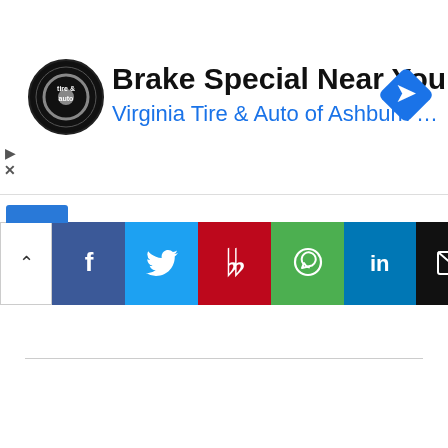[Figure (screenshot): Ad banner for Virginia Tire & Auto of Ashburn with logo, headline 'Brake Special Near You', subtext 'Virginia Tire & Auto of Ashburn ...', and a blue navigation diamond icon on the right.]
[Figure (infographic): Social share bar with buttons for Facebook, Twitter, Pinterest, WhatsApp, LinkedIn, Email, Print, and Viber.]
[Figure (screenshot): Red NEXT button with white bold text 'NEXT' and a right-arrow circle, with label 'on Newz Online' below.]